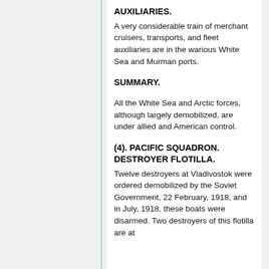AUXILIARIES.
A very considerable train of merchant cruisers, transports, and fleet auxiliaries are in the warious White Sea and Murman ports.
SUMMARY.
All the White Sea and Arctic forces, although largely demobilized, are under allied and American control.
(4). PACIFIC SQUADRON. DESTROYER FLOTILLA.
Twelve destroyers at Vladivostok were ordered demobilized by the Soviet Government, 22 February, 1918, and in July, 1918, these boats were disarmed. Two destroyers of this flotilla are at